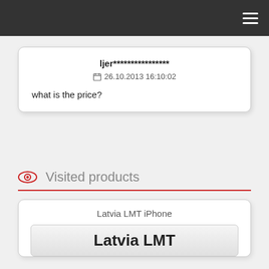Navigation menu
ljer****************
26.10.2013 16:10:02
what is the price?
Visited products
Latvia LMT iPhone
Latvia LMT